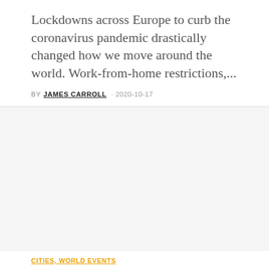Lockdowns across Europe to curb the coronavirus pandemic drastically changed how we move around the world. Work-from-home restrictions,...
BY JAMES CARROLL · 2020-10-17
[Figure (photo): Large image placeholder area (white/grey background)]
CITIES, WORLD EVENTS
How to How To Make Public Transport...